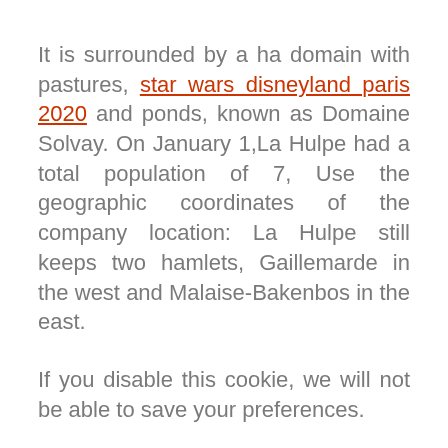It is surrounded by a ha domain with pastures, star wars disneyland paris 2020 and ponds, known as Domaine Solvay. On January 1,La Hulpe had a total population of 7, Use the geographic coordinates of the company location: La Hulpe still keeps two hamlets, Gaillemarde in the west and Malaise-Bakenbos in the east.
If you disable this cookie, we will not be able to save your preferences.
Nanoo's by Alain Morillon. Authority control. Add your company. If so, years